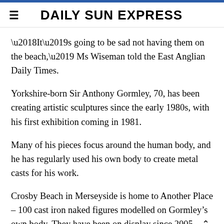DAILY SUN EXPRESS
‘It’s going to be sad not having them on the beach,’ Ms Wiseman told the East Anglian Daily Times.
Yorkshire-born Sir Anthony Gormley, 70, has been creating artistic sculptures since the early 1980s, with his first exhibition coming in 1981.
Many of his pieces focus around the human body, and he has regularly used his own body to create metal casts for his work.
Crosby Beach in Merseyside is home to Another Place – 100 cast iron naked figures modelled on Gormley’s own body. They have been on display since 2005.